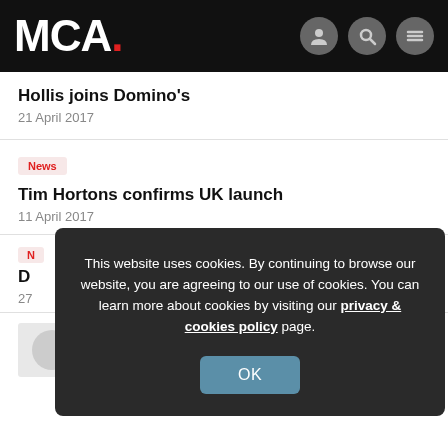MCA.
Hollis joins Domino's
21 April 2017
News
Tim Hortons confirms UK launch
11 April 2017
N
D
27
This website uses cookies. By continuing to browse our website, you are agreeing to our use of cookies. You can learn more about cookies by visiting our privacy & cookies policy page.
OK
Analysis & Insight
Walsh on TRG, Domino's and C&C